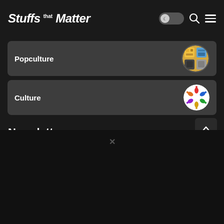Stuffs that Matter
Popculture
Culture
Newsletter
If you want to be bombarded with pretty interesting stuffs from us through e-mail, please do subscribe to our newsletter!